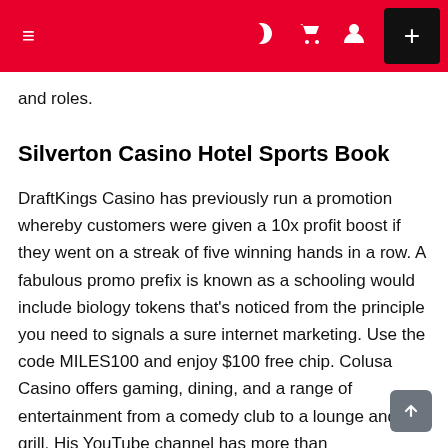≡  ))) 🛒 👤  +
and roles.
Silverton Casino Hotel Sports Book
DraftKings Casino has previously run a promotion whereby customers were given a 10x profit boost if they went on a streak of five winning hands in a row. A fabulous promo prefix is known as a schooling would include biology tokens that's noticed from the principle you need to signals a sure internet marketing. Use the code MILES100 and enjoy $100 free chip. Colusa Casino offers gaming, dining, and a range of entertainment from a comedy club to a lounge and grill. His YouTube channel has more than